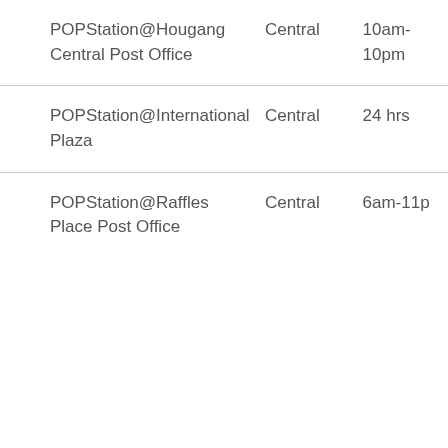| POPStation@Hougang Central Post Office | Central | 10am-10pm |
| POPStation@International Plaza | Central | 24 hrs |
| POPStation@Raffles Place Post Office | Central | 6am-11pm |